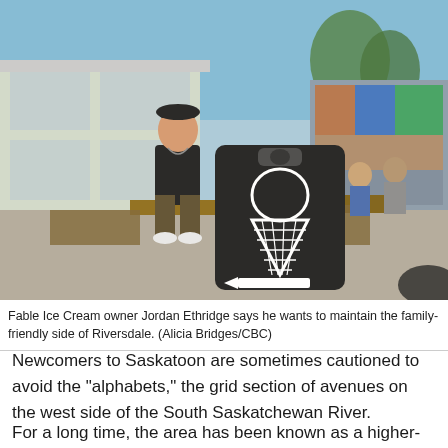[Figure (photo): Outdoor photo of Fable Ice Cream owner Jordan Ethridge sitting on a bench near a black sandwich board sign with a chalk-drawn ice cream cone and arrow. The setting is a patio area in Riversdale with people sitting in the background and a mural wall on the right.]
Fable Ice Cream owner Jordan Ethridge says he wants to maintain the family-friendly side of Riversdale. (Alicia Bridges/CBC)
Newcomers to Saskatoon are sometimes cautioned to avoid the "alphabets," the grid section of avenues on the west side of the South Saskatchewan River.
For a long time, the area has been known as a higher-